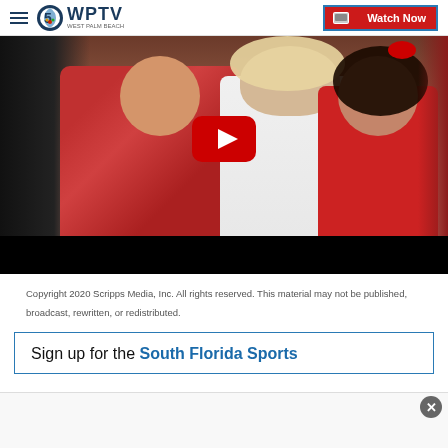WPTV West Palm Beach — Watch Now
[Figure (screenshot): Video thumbnail showing a family group photo with a woman in white dress and two children, overlaid with a YouTube play button. The bottom portion is a black bar.]
Copyright 2020 Scripps Media, Inc. All rights reserved. This material may not be published, broadcast, rewritten, or redistributed.
Sign up for the South Florida Sports